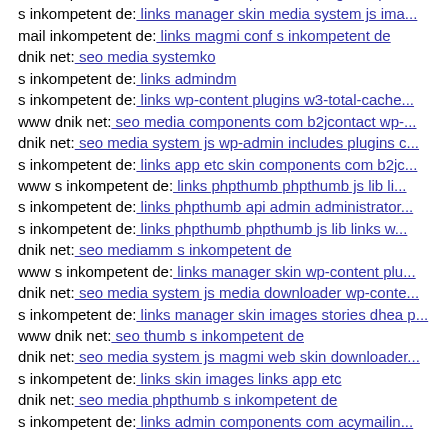s inkompetent de: links manager wp-content plugins wp-m...
s inkompetent de: links manager skin media system js ima...
mail inkompetent de: links magmi conf s inkompetent de
dnik net: seo media systemko
s inkompetent de: links admindm
s inkompetent de: links wp-content plugins w3-total-cache...
www dnik net: seo media components com b2jcontact wp-...
dnik net: seo media system js wp-admin includes plugins c...
s inkompetent de: links app etc skin components com b2jc...
www s inkompetent de: links phpthumb phpthumb js lib li...
s inkompetent de: links phpthumb api admin administrator...
s inkompetent de: links phpthumb phpthumb js lib links w...
dnik net: seo mediamm s inkompetent de
www s inkompetent de: links manager skin wp-content plu...
dnik net: seo media system js media downloader wp-conte...
s inkompetent de: links manager skin images stories dhea p...
www dnik net: seo thumb s inkompetent de
dnik net: seo media system js magmi web skin downloader...
s inkompetent de: links skin images links app etc
dnik net: seo media phpthumb s inkompetent de
s inkompetent de: links admin components com acymailin...